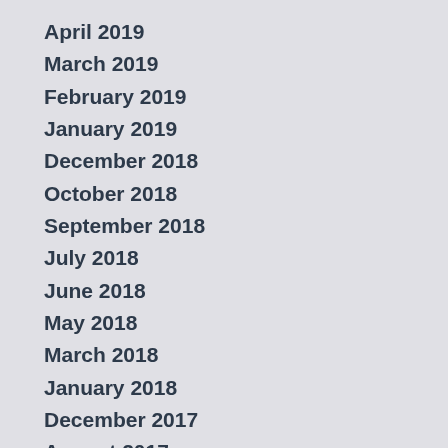April 2019
March 2019
February 2019
January 2019
December 2018
October 2018
September 2018
July 2018
June 2018
May 2018
March 2018
January 2018
December 2017
August 2017
July 2017
June 2017